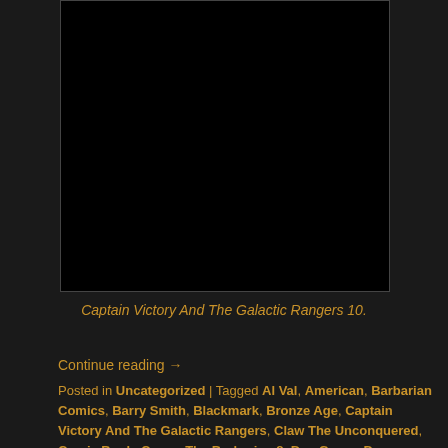[Figure (photo): A dark/black image area representing a comic book cover or page image, rendered as a black rectangle with border.]
Captain Victory And The Galactic Rangers 10.
Continue reading →
Posted in Uncategorized | Tagged Al Val, American, Barbarian Comics, Barry Smith, Blackmark, Bronze Age, Captain Victory And The Galactic Rangers, Claw The Unconquered, Comic Book, Conan The Barbarian 8, Dan Green, Dave Cockrum, Dave Hunt, Don Moore, donmo2re, Epic Comics, Fantastic, Footrot Flats, Fzzies Drink